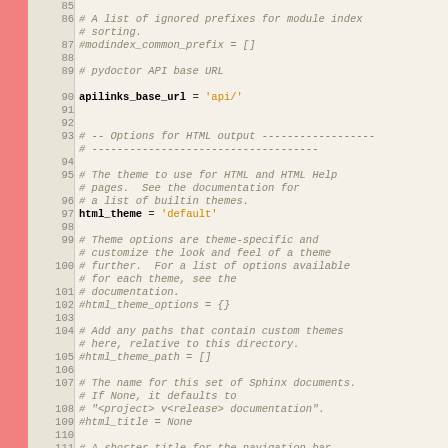[Figure (screenshot): Source code editor showing Python/Sphinx configuration file (conf.py) with line numbers 85-111, displaying commented configuration options for HTML output including html_theme, html_theme_options, html_theme_path, html_title settings]